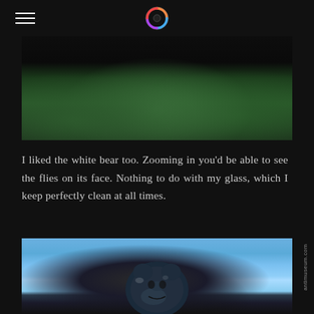antimuseum.com
[Figure (photo): Outdoor photo showing dark sculpture or wall against green grass and foliage background]
I liked the white bear too. Zooming in you'd be able to see the flies on its face. Nothing to do with my glass, which I keep perfectly clean at all times.
[Figure (photo): Close-up photo of a glossy dark blue/black bear sculpture head against a blue sky with clouds]